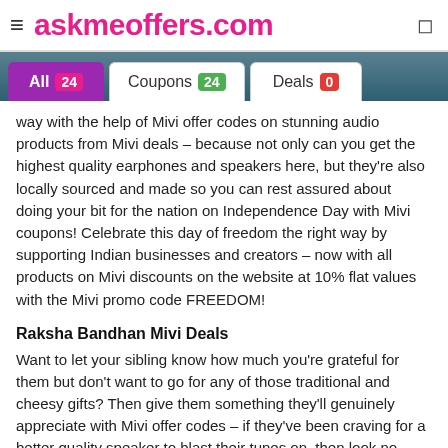askmeoffers.com
way with the help of Mivi offer codes on stunning audio products from Mivi deals – because not only can you get the highest quality earphones and speakers here, but they're also locally sourced and made so you can rest assured about doing your bit for the nation on Independence Day with Mivi coupons! Celebrate this day of freedom the right way by supporting Indian businesses and creators – now with all products on Mivi discounts on the website at 10% flat values with the Mivi promo code FREEDOM!
Raksha Bandhan Mivi Deals
Want to let your sibling know how much you're grateful for them but don't want to go for any of those traditional and cheesy gifts? Then give them something they'll genuinely appreciate with Mivi offer codes – if they've been craving for a better quality speaker to blast their tunes on, then look no